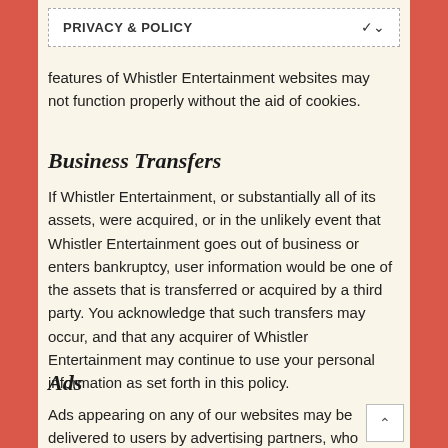PRIVACY & POLICY
features of Whistler Entertainment websites may not function properly without the aid of cookies.
Business Transfers
If Whistler Entertainment, or substantially all of its assets, were acquired, or in the unlikely event that Whistler Entertainment goes out of business or enters bankruptcy, user information would be one of the assets that is transferred or acquired by a third party. You acknowledge that such transfers may occur, and that any acquirer of Whistler Entertainment may continue to use your personal information as set forth in this policy.
Ads
Ads appearing on any of our websites may be delivered to users by advertising partners, who may set cookies.